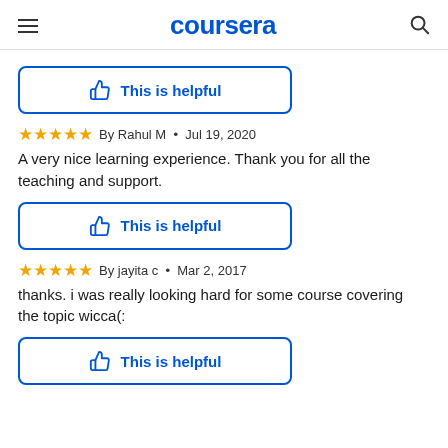coursera
[Figure (other): This is helpful button with thumbs up icon]
By Rahul M • Jul 19, 2020
A very nice learning experience. Thank you for all the teaching and support.
[Figure (other): This is helpful button with thumbs up icon]
By jayita c • Mar 2, 2017
thanks. i was really looking hard for some course covering the topic wicca(:
[Figure (other): This is helpful button with thumbs up icon]